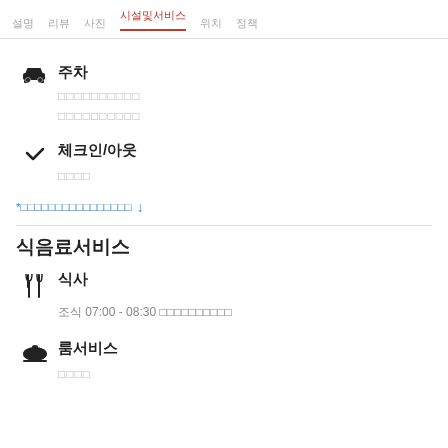설명  리뷰  사진  시설및서비스  위치  정책
주차
□□□□□□□□□□
□□□□□□□□□□
체크인/아웃
□□□□
*□□□□□□□□□□□□□□□□ ↓
식음료서비스
식사
조식 07:00 - 08:30 □□□□□□□□□□
룸서비스
□□□□